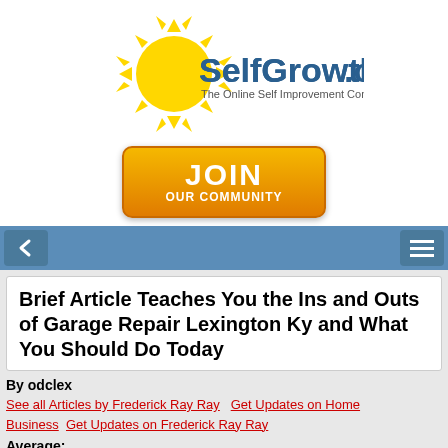[Figure (logo): SelfGrowth.com logo with sun and tagline 'The Online Self Improvement Community']
[Figure (illustration): Orange JOIN OUR COMMUNITY button]
[Figure (other): Navigation bar with back arrow and hamburger menu on blue background]
Brief Article Teaches You the Ins and Outs of Garage Repair Lexington Ky and What You Should Do Today
By odclex
See all Articles by Frederick Ray Ray   Get Updates on Home Business   Get Updates on Frederick Ray Ray
Average:
0
Tweet